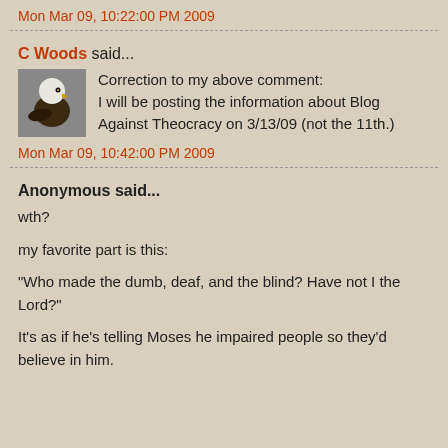Mon Mar 09, 10:22:00 PM 2009
C Woods said...
Correction to my above comment:
I will be posting the information about Blog Against Theocracy on 3/13/09 (not the 11th.)
Mon Mar 09, 10:42:00 PM 2009
Anonymous said...
wth?

my favorite part is this:

"Who made the dumb, deaf, and the blind? Have not I the Lord?"

It's as if he's telling Moses he impaired people so they'd believe in him.